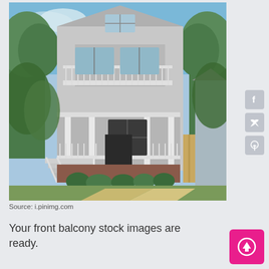[Figure (photo): Exterior photo of a two-story gray house with white railings, front porch with columns, a balcony on the second floor, stairs leading up to the porch, green shrubs in front, a concrete driveway/walkway, trees in the background, and a neighboring gray building on the right.]
Source: i.pinimg.com
Your front balcony stock images are ready.